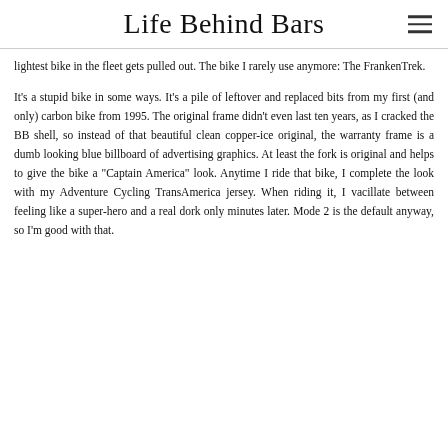Life Behind Bars
lightest bike in the fleet gets pulled out. The bike I rarely use anymore: The FrankenTrek.
It's a stupid bike in some ways. It's a pile of leftover and replaced bits from my first (and only) carbon bike from 1995. The original frame didn't even last ten years, as I cracked the BB shell, so instead of that beautiful clean copper-ice original, the warranty frame is a dumb looking blue billboard of advertising graphics. At least the fork is original and helps to give the bike a "Captain America" look. Anytime I ride that bike, I complete the look with my Adventure Cycling TransAmerica jersey. When riding it, I vacillate between feeling like a super-hero and a real dork only minutes later. Mode 2 is the default anyway, so I'm good with that.